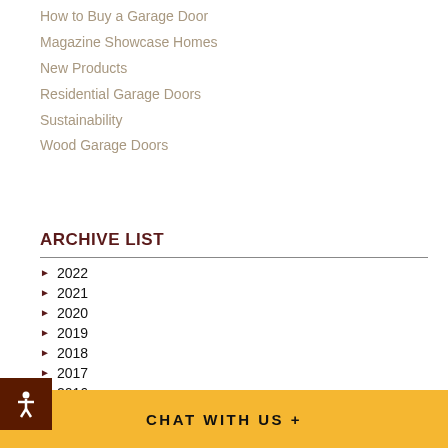How to Buy a Garage Door
Magazine Showcase Homes
New Products
Residential Garage Doors
Sustainability
Wood Garage Doors
ARCHIVE LIST
► 2022
► 2021
► 2020
► 2019
► 2018
► 2017
► 2016
► 2015
► 2014
► 2013
► 2012
► 2011
CHAT WITH US +